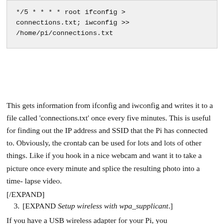[Figure (screenshot): Code block showing cron job command: */5 * * * * root ifconfig > connections.txt; iwconfig >> /home/pi/connections.txt]
This gets information from ifconfig and iwconfig and writes it to a file called 'connections.txt' once every five minutes. This is useful for finding out the IP address and SSID that the Pi has connected to. Obviously, the crontab can be used for lots and lots of other things. Like if you hook in a nice webcam and want it to take a picture once every minute and splice the resulting photo into a time-lapse video.
[/EXPAND]
3. [EXPAND Setup wireless with wpa_supplicant.]
If you have a USB wireless adapter for your Pi, you